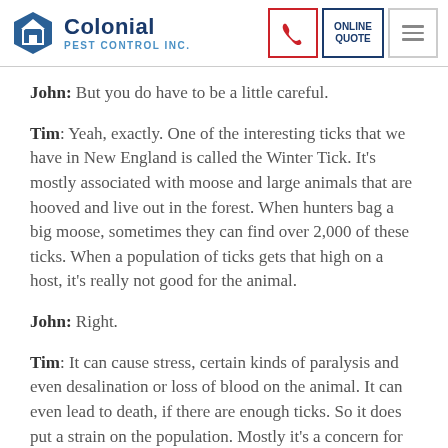Colonial Pest Control Inc. | Phone | Online Quote | Menu
John: But you do have to be a little careful.
Tim: Yeah, exactly. One of the interesting ticks that we have in New England is called the Winter Tick. It's mostly associated with moose and large animals that are hooved and live out in the forest. When hunters bag a big moose, sometimes they can find over 2,000 of these ticks. When a population of ticks gets that high on a host, it's really not good for the animal.
John: Right.
Tim: It can cause stress, certain kinds of paralysis and even desalination or loss of blood on the animal. It can even lead to death, if there are enough ticks. So it does put a strain on the population. Mostly it's a concern for